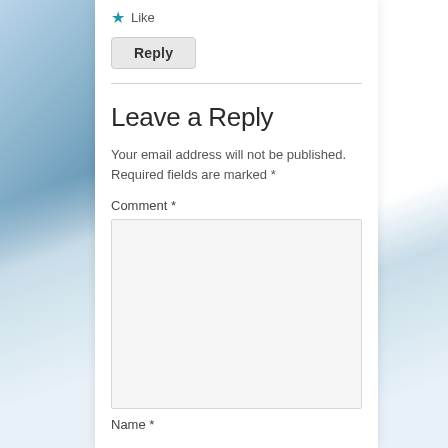★ Like
Reply
Leave a Reply
Your email address will not be published. Required fields are marked *
Comment *
Name *